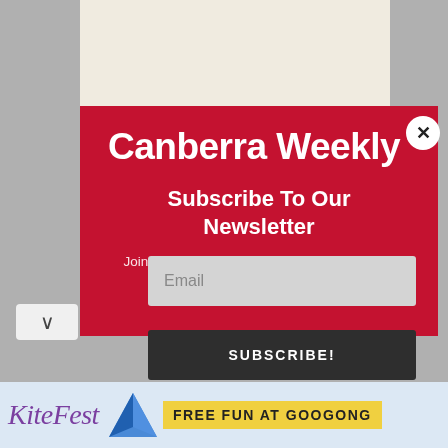If we aren't fighting online hate, then who
Canberra Weekly
Subscribe To Our Newsletter
Join our mailing list to receive the latest news straight to your inbox.
[Figure (screenshot): Email input field and SUBSCRIBE! button for newsletter sign-up]
[Figure (logo): KiteFest banner advertisement reading FREE FUN AT GOOGONG with kite graphic]